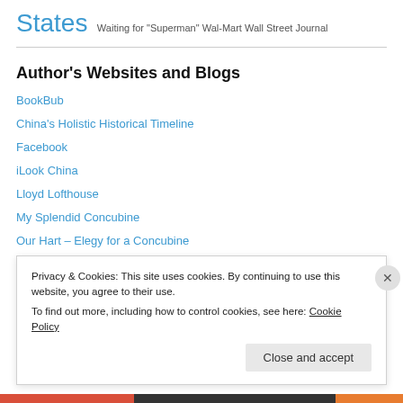States Waiting for "Superman" Wal-Mart Wall Street Journal
Author's Websites and Blogs
BookBub
China's Holistic Historical Timeline
Facebook
iLook China
Lloyd Lofthouse
My Splendid Concubine
Our Hart – Elegy for a Concubine
The Soulful Veteran
Privacy & Cookies: This site uses cookies. By continuing to use this website, you agree to their use.
To find out more, including how to control cookies, see here: Cookie Policy